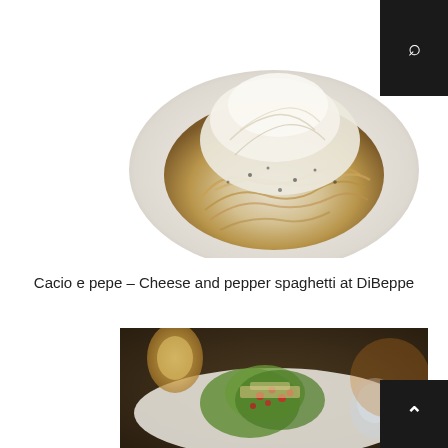[Figure (photo): Close-up photo of cacio e pepe pasta — spaghetti topped with a generous mound of grated pecorino/parmesan cheese and black pepper, served in a white bowl.]
Cacio e pepe – Cheese and pepper spaghetti at DiBeppe
[Figure (photo): Photo of a salad dish at a restaurant table — leafy greens, red pomegranate seeds, breadcrumbs, and other toppings on a white plate, with candles and tableware visible in the background.]